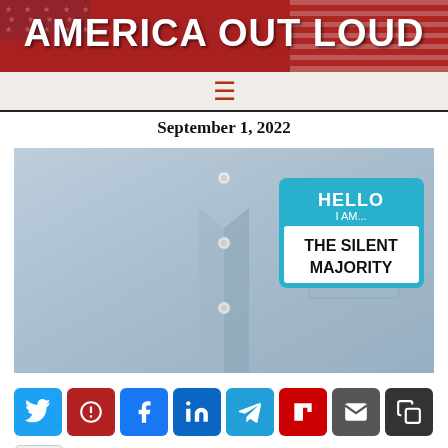AMERICA OUT LOUD
September 1, 2022
[Figure (photo): Close-up of a light blue dress shirt collar and pocket area, with a 'Hello I AM... THE SILENT MAJORITY' name tag sticker affixed to the shirt]
[Figure (infographic): Row of social sharing buttons: Twitter, Parler, Facebook, LinkedIn, Telegram, Flipboard, Email, Copy, and a more (+) button]